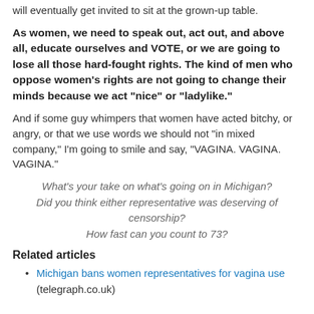will eventually get invited to sit at the grown-up table.
As women, we need to speak out, act out, and above all, educate ourselves and VOTE, or we are going to lose all those hard-fought rights.  The kind of men who oppose women's rights are not going to change their minds because we act "nice" or "ladylike."
And if some guy whimpers that women have acted bitchy, or angry, or that we use words we should not "in mixed company," I'm going to smile and say, "VAGINA. VAGINA. VAGINA."
What's your take on what's going on in Michigan? Did you think either representative was deserving of censorship? How fast can you count to 73?
Related articles
Michigan bans women representatives for vagina use (telegraph.co.uk)